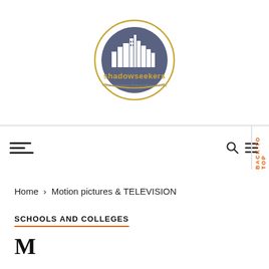[Figure (logo): Shadowseekers logo: circular emblem with gold outer ring, dark blue/grey fill with white city skyline silhouette. Text below reads 'shadowseekers' in gold and 'House of Business Finance Industry Society' in grey.]
Navigation bar with hamburger menu icon, search icon, and menu icon. BACK TO TOP label on right side.
Home › Motion pictures & TELEVISION
SCHOOLS AND COLLEGES
Mo...